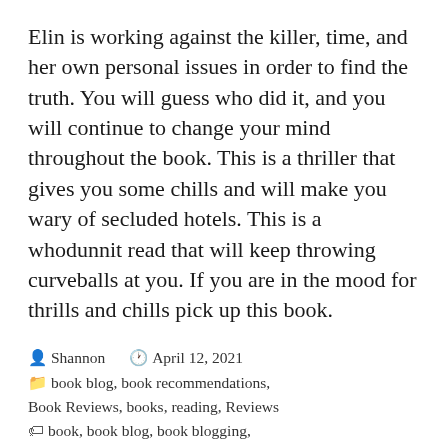Elin is working against the killer, time, and her own personal issues in order to find the truth. You will guess who did it, and you will continue to change your mind throughout the book. This is a thriller that gives you some chills and will make you wary of secluded hotels. This is a whodunnit read that will keep throwing curveballs at you. If you are in the mood for thrills and chills pick up this book.
Shannon   April 12, 2021
book blog, book recommendations, Book Reviews, books, reading, Reviews
book, book blog, book blogging, book recommendations, book review, book reviewer, books, booksuponmynightstand, good reads, read, readers, reading, reading blog,